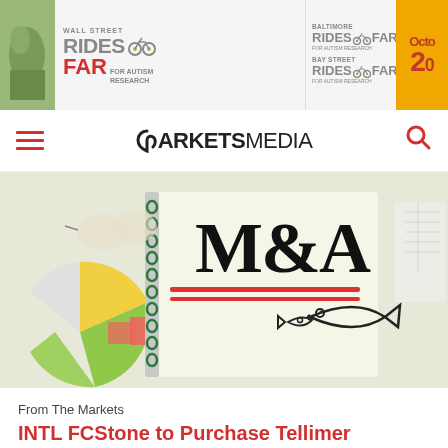[Figure (illustration): Banner advertisement for 'Wall Street Rides Far for Autism Research', 'Baltimore Rides Far', and 'Bay Street Rides Far' charity cycling events, with an orange panel showing 'Octo' and '20']
MARKETS MEDIA
[Figure (photo): Photo of a spiral notebook with 'M&A' written in large letters and underlined in red, alongside drawings of a large fish eating a smaller fish, with colorful pie chart pieces and sticky notes in the background]
From The Markets
INTL FCStone to Purchase Tellimer Group's Brokerages